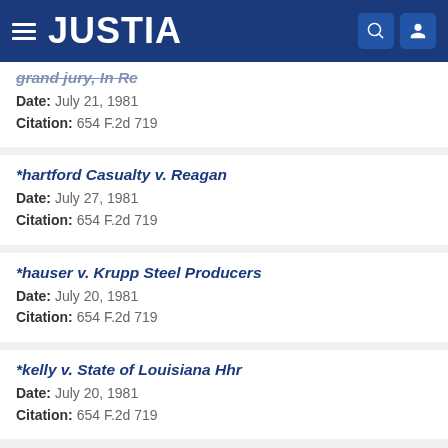JUSTIA
grand jury, In Re — Date: July 21, 1981 — Citation: 654 F.2d 719
*hartford Casualty v. Reagan — Date: July 27, 1981 — Citation: 654 F.2d 719
*hauser v. Krupp Steel Producers — Date: July 20, 1981 — Citation: 654 F.2d 719
*kelly v. State of Louisiana Hhr — Date: July 20, 1981 — Citation: 654 F.2d 719